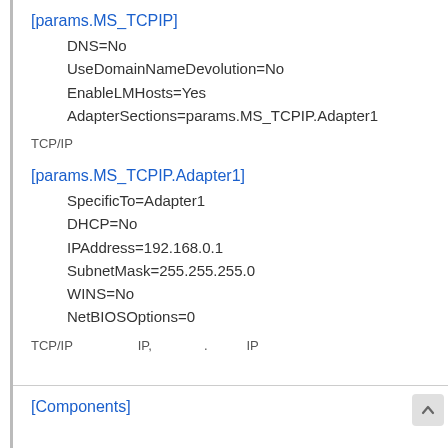[params.MS_TCPIP]
DNS=No
UseDomainNameDevolution=No
EnableLMHosts=Yes
AdapterSections=params.MS_TCPIP.Adapter1
TCP/IP
[params.MS_TCPIP.Adapter1]
SpecificTo=Adapter1
DHCP=No
IPAddress=192.168.0.1
SubnetMask=255.255.255.0
WINS=No
NetBIOSOptions=0
TCP/IP　　　　　IP,　　　　.　　IP
[Components]